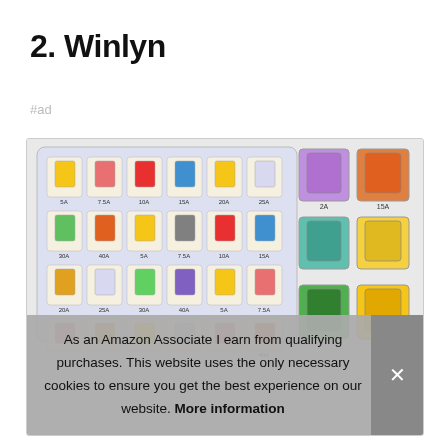2. Winlyn
#ad
[Figure (photo): Product image showing a Winlyn automotive blade fuse assortment kit in a plastic tray with labeled compartments for fuses of various amperage ratings (5A, 7.5A, 10A, 15A, 20A, 25A, 30A, 40A), alongside individual colorful blade fuses.]
As an Amazon Associate I earn from qualifying purchases. This website uses the only necessary cookies to ensure you get the best experience on our website. More information